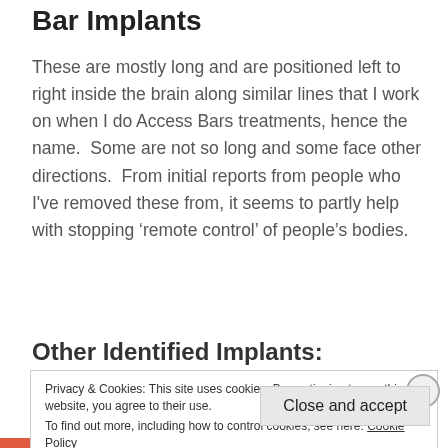Bar Implants
These are mostly long and are positioned left to right inside the brain along similar lines that I work on when I do Access Bars treatments, hence the name.  Some are not so long and some face other directions.  From initial reports from people who I've removed these from, it seems to partly help with stopping ‘remote control’ of people’s bodies.
Other Identified Implants:
Privacy & Cookies: This site uses cookies. By continuing to use this website, you agree to their use.
To find out more, including how to control cookies, see here: Cookie Policy
Close and accept